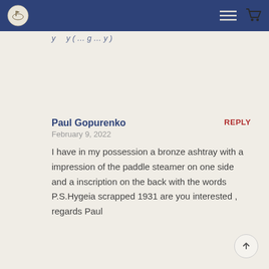[navigation bar with logo, hamburger menu, and cart icon]
y … y ( … g … y )
Paul Gopurenko
February 9, 2022
REPLY
I have in my possession a bronze ashtray with a impression of the paddle steamer on one side and a inscription on the back with the words P.S.Hygeia scrapped 1931 are you interested , regards Paul